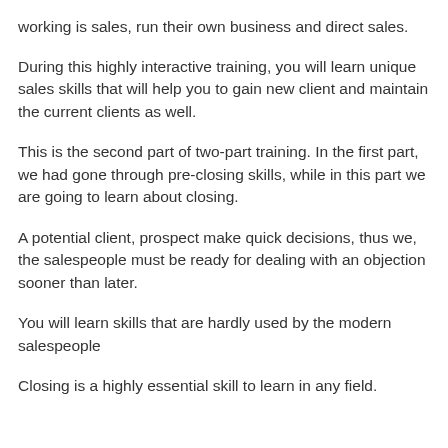working is sales, run their own business and direct sales.
During this highly interactive training, you will learn unique sales skills that will help you to gain new client and maintain the current clients as well.
This is the second part of two-part training. In the first part, we had gone through pre-closing skills, while in this part we are going to learn about closing.
A potential client, prospect make quick decisions, thus we, the salespeople must be ready for dealing with an objection sooner than later.
You will learn skills that are hardly used by the modern salespeople
Closing is a highly essential skill to learn in any field.